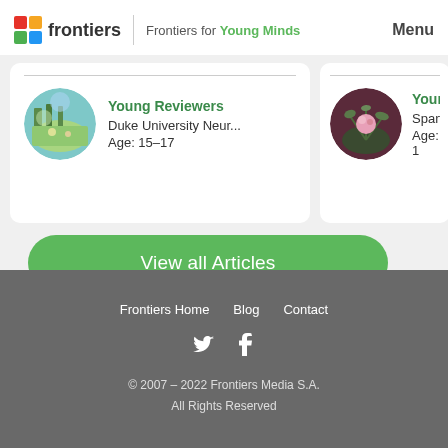frontiers | Frontiers for Young Minds   Menu
[Figure (screenshot): Card showing Young Reviewers - Duke University Neur... Age: 15-17 with circular avatar image of colorful scene]
[Figure (screenshot): Partial card showing Young... Spand... Age: 1... with circular avatar of pink flower]
View all Articles
Frontiers Home   Blog   Contact
© 2007 - 2022 Frontiers Media S.A.
All Rights Reserved